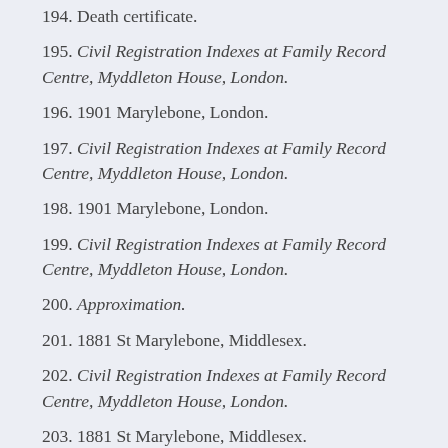194. Death certificate.
195. Civil Registration Indexes at Family Record Centre, Myddleton House, London.
196. 1901 Marylebone, London.
197. Civil Registration Indexes at Family Record Centre, Myddleton House, London.
198. 1901 Marylebone, London.
199. Civil Registration Indexes at Family Record Centre, Myddleton House, London.
200. Approximation.
201. 1881 St Marylebone, Middlesex.
202. Civil Registration Indexes at Family Record Centre, Myddleton House, London.
203. 1881 St Marylebone, Middlesex.